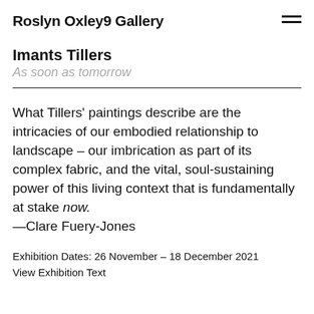Roslyn Oxley9 Gallery
Imants Tillers
As soon as tomorrow
What Tillers' paintings describe are the intricacies of our embodied relationship to landscape – our imbrication as part of its complex fabric, and the vital, soul-sustaining power of this living context that is fundamentally at stake now.
—Clare Fuery-Jones
Exhibition Dates: 26 November – 18 December 2021
View Exhibition Text